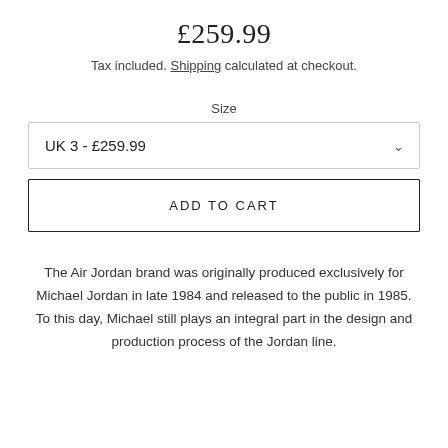£259.99
Tax included. Shipping calculated at checkout.
Size
UK 3 - £259.99
ADD TO CART
The Air Jordan brand was originally produced exclusively for Michael Jordan in late 1984 and released to the public in 1985. To this day, Michael still plays an integral part in the design and production process of the Jordan line.